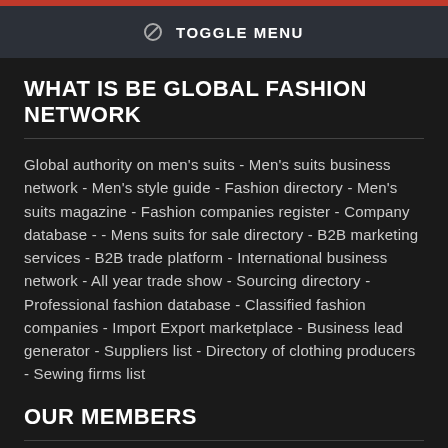TOGGLE MENU
WHAT IS BE GLOBAL FASHION NETWORK
Global authority on men's suits - Men's suits business network - Men's style guide - Fashion directory - Men's suits magazine - Fashion companies register - Company database - - Mens suits for sale directory - B2B marketing services - B2B trade platform - International business network - All year trade show - Sourcing directory - Professional fashion database - Classified fashion companies - Import Export marketplace - Business lead generator - Suppliers list - Directory of clothing producers - Sewing firms list
OUR MEMBERS
Fashion professionals - Men's suit tailors - Travelling tailors - Men's suit designers - Fashion designers - Fashion brands - Fashion producers - Men's suit fabrics producers - Men's suit equipment producers - Fashion merchandisers - Fashion buyers - Sales representatives - Fashion agents - Pattern makers - Product